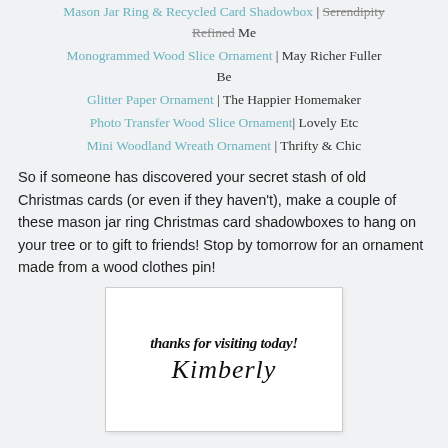Mason Jar Ring & Recycled Card Shadowbox | Serendipity Refined Me
Monogrammed Wood Slice Ornament | May Richer Fuller Be
Glitter Paper Ornament | The Happier Homemaker
Photo Transfer Wood Slice Ornament | Lovely Etc
Mini Woodland Wreath Ornament | Thrifty & Chic
So if someone has discovered your secret stash of old Christmas cards (or even if they haven't), make a couple of these mason jar ring Christmas card shadowboxes to hang on your tree or to gift to friends! Stop by tomorrow for an ornament made from a wood clothes pin!
[Figure (illustration): A handwritten-style thank you note in a white box with border, reading 'thanks for visiting today!' and a cursive signature 'Kimberly']